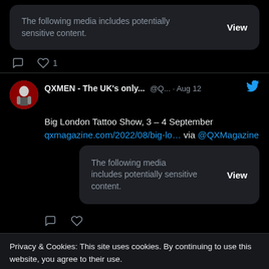The following media includes potentially sensitive content. View
♡ 1
QXMEN - The UK's only... @Q... · Aug 12
Big London Tattoo Show, 3 – 4 September qxmagazine.com/2022/08/big-lo… via @QXMagazine
The following media includes potentially sensitive content. View
Privacy & Cookies: This site uses cookies. By continuing to use this website, you agree to their use.
To find out more, including how to control cookies, see here: Cookie Policy
I Consent